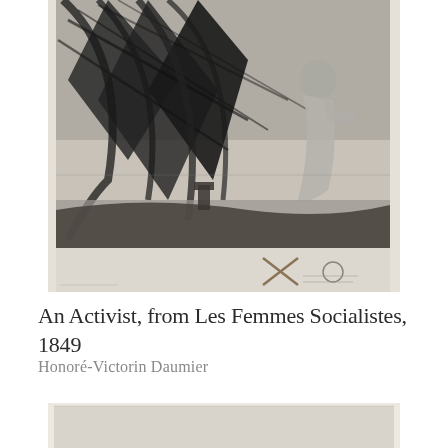[Figure (illustration): A black and white lithograph showing a woman activist in motion with dramatic wind-swept trees and landscape in the background, with handwritten inscription and stamp in the lower right portion of the sheet.]
An Activist, from Les Femmes Socialistes, 1849
Honoré-Victorin Daumier
[Figure (photo): Bottom portion of another artwork or the verso of the same work, showing a plain light-colored sheet.]